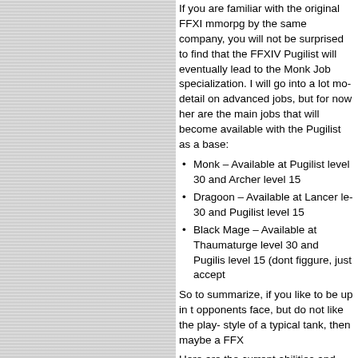If you are familiar with the original FFXI mmorpg by the same company, you will not be surprised to find that the FFXIV Pugilist will eventually lead to the Monk Job specialization. I will go into a lot more detail on advanced jobs, but for now here are the main jobs that will become available with the Pugilist as a base:
Monk – Available at Pugilist level 30 and Archer level 15
Dragoon – Available at Lancer level 30 and Pugilist level 15
Black Mage – Available at Thaumaturge level 30 and Pugilist level 15 (dont figgure, just accept
So to summarize, if you like to be up in the opponents face, but do not like the play-style of a typical tank, then maybe a FFX
Here are the current abilities and traits fo
| Name | Level | Cast |
| --- | --- | --- |
| Bootshine | 1 | Insta |
| [image] |  |  |